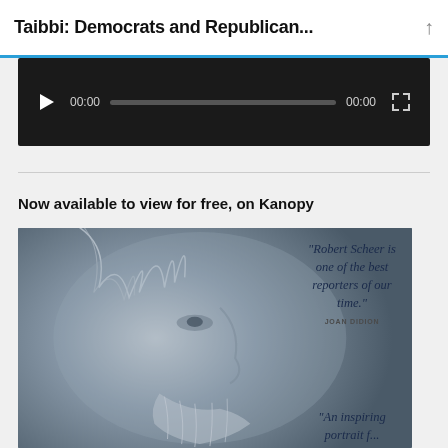Taibbi: Democrats and Republican...
[Figure (screenshot): Video player with dark background, play button, time display 00:00, progress bar, and fullscreen button]
Now available to view for free, on Kanopy
[Figure (illustration): Book cover or promotional image showing a detailed pencil portrait of an elderly man (Robert Scheer) in profile. Quotes: 'Robert Scheer is one of the best reporters of our time.' — JOAN DIDION. 'An inspiring portrait f...t']